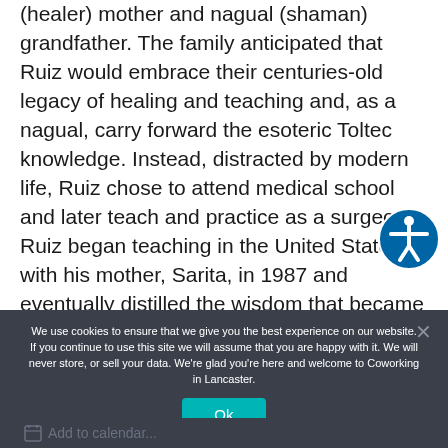(healer) mother and nagual (shaman) grandfather. The family anticipated that Ruiz would embrace their centuries-old legacy of healing and teaching and, as a nagual, carry forward the esoteric Toltec knowledge. Instead, distracted by modern life, Ruiz chose to attend medical school and later teach and practice as a surgeon. Ruiz began teaching in the United States with his mother, Sarita, in 1987 and eventually distilled the wisdom that became The Four Agreements.
We use cookies to ensure that we give you the best experience on our website. If you continue to use this site we will assume that you are happy with it. We will never store, or sell your data. We're glad you're here and welcome to Coworking in Lancaster.